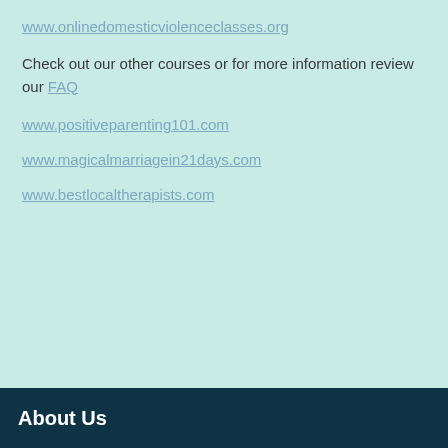www.onlinedomesticviolenceclasses.org
Check out our other courses or for more information review our FAQ
www.positiveparenting101.com
www.magicalmarriagein21days.com
www.bestlocaltherapists.com
About Us